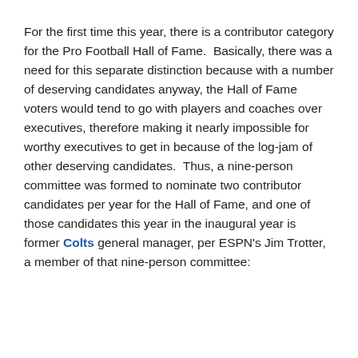For the first time this year, there is a contributor category for the Pro Football Hall of Fame.  Basically, there was a need for this separate distinction because with a number of deserving candidates anyway, the Hall of Fame voters would tend to go with players and coaches over executives, therefore making it nearly impossible for worthy executives to get in because of the log-jam of other deserving candidates.  Thus, a nine-person committee was formed to nominate two contributor candidates per year for the Hall of Fame, and one of those candidates this year in the inaugural year is former Colts general manager, per ESPN's Jim Trotter, a member of that nine-person committee: